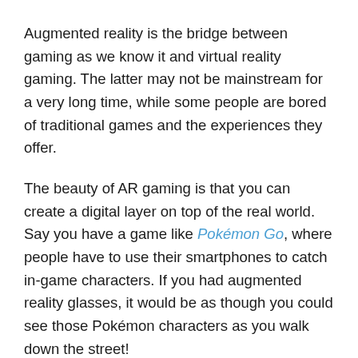Augmented reality is the bridge between gaming as we know it and virtual reality gaming. The latter may not be mainstream for a very long time, while some people are bored of traditional games and the experiences they offer.
The beauty of AR gaming is that you can create a digital layer on top of the real world. Say you have a game like Pokémon Go, where people have to use their smartphones to catch in-game characters. If you had augmented reality glasses, it would be as though you could see those Pokémon characters as you walk down the street!
Another advantage for AR gaming is that mooted headsets are a lot lighter. Most people believe that even slightly thicker eyeglasses would be sufficient for an AR experience, as the change would not be significant.